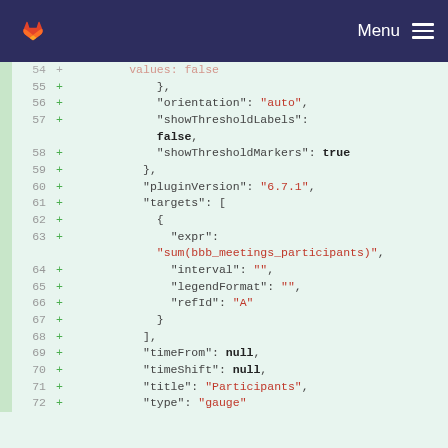GitLab navigation bar with logo and Menu
[Figure (screenshot): Code diff view showing lines 54-72 of a JSON configuration file with additions marked by + signs. Lines show properties: values:false, orientation:'auto', showThresholdLabels:false, showThresholdMarkers:true, pluginVersion:'6.7.1', targets array with expr:'sum(bbb_meetings_participants)', interval:'', legendFormat:'', refId:'A', timeFrom:null, timeShift:null, title:'Participants', type:'gauge']